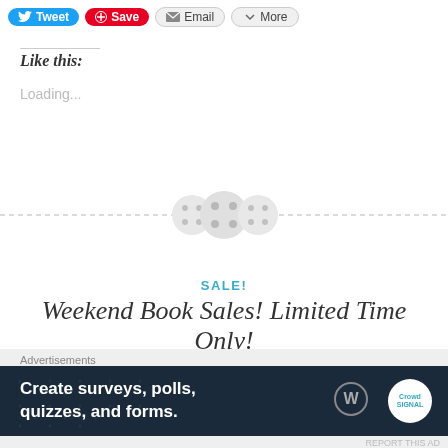[Figure (screenshot): Social sharing buttons: Tweet (blue), Save (red), Email (gray), More (gray)]
Like this:
Loading...
[Figure (other): Dashed horizontal divider with three circular button icons in the center]
SALE!
Weekend Book Sales! Limited Time Only!
May 26, 2017 · Leave a comment
[Figure (screenshot): Advertisement banner: Create surveys, polls, quizzes, and forms. WordPress and Crowdsignal logos.]